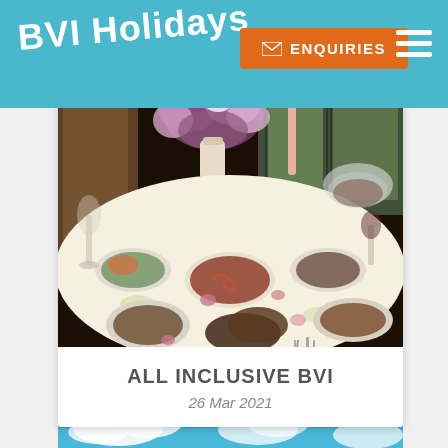BVI Holidays
[Figure (photo): Orange button with envelope icon and text ENQUIRIES]
[Figure (photo): Hamburger menu icon (three white horizontal lines)]
[Figure (photo): Photo of a dining table with many dishes of food, flowers, and candles arranged on a floral tablecloth]
ALL INCLUSIVE BVI
26 Mar 2021
[Figure (photo): Partial photo at bottom showing blue sky with clouds]